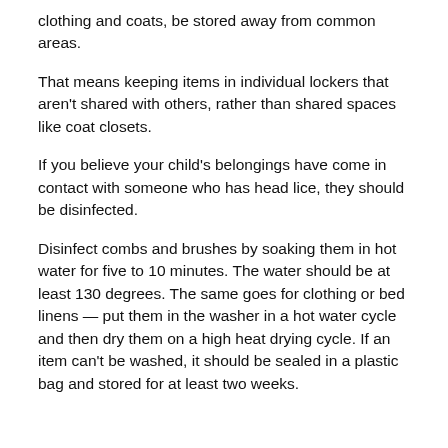clothing and coats, be stored away from common areas.
That means keeping items in individual lockers that aren't shared with others, rather than shared spaces like coat closets.
If you believe your child's belongings have come in contact with someone who has head lice, they should be disinfected.
Disinfect combs and brushes by soaking them in hot water for five to 10 minutes. The water should be at least 130 degrees. The same goes for clothing or bed linens — put them in the washer in a hot water cycle and then dry them on a high heat drying cycle. If an item can't be washed, it should be sealed in a plastic bag and stored for at least two weeks.